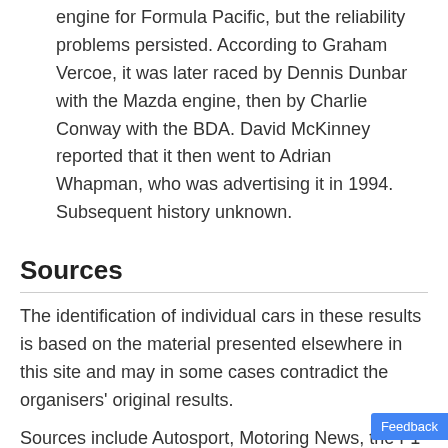engine for Formula Pacific, but the reliability problems persisted. According to Graham Vercoe, it was later raced by Dennis Dunbar with the Mazda engine, then by Charlie Conway with the BDA. David McKinney reported that it then went to Adrian Whapman, who was advertising it in 1994. Subsequent history unknown.
Sources
The identification of individual cars in these results is based on the material presented elsewhere in this site and may in some cases contradict the organisers' original results.
Sources include Autosport, Motoring News, the F1 Register books and Graham Vercoe's books "Historic Racing Cars of New Zealand" and "The Golden Era of New Zealand Motor Racing".